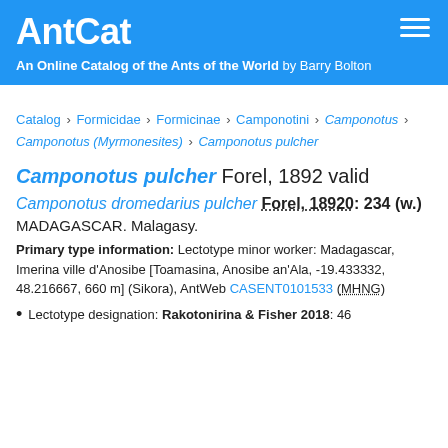AntCat
An Online Catalog of the Ants of the World by Barry Bolton
Catalog › Formicidae › Formicinae › Camponotini › Camponotus › Camponotus (Myrmonesites) › Camponotus pulcher
Camponotus pulcher Forel, 1892 valid
Camponotus dromedarius pulcher Forel, 18920: 234 (w.) MADAGASCAR. Malagasy.
Primary type information: Lectotype minor worker: Madagascar, Imerina ville d'Anosibe [Toamasina, Anosibe an'Ala, -19.433332, 48.216667, 660 m] (Sikora), AntWeb CASENT0101533 (MHNG)
Lectotype designation: Rakotonirina & Fisher 2018: 46